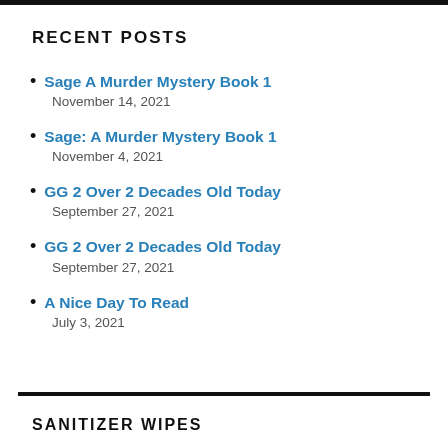RECENT POSTS
Sage A Murder Mystery Book 1
November 14, 2021
Sage: A Murder Mystery Book 1
November 4, 2021
GG 2 Over 2 Decades Old Today
September 27, 2021
GG 2 Over 2 Decades Old Today
September 27, 2021
A Nice Day To Read
July 3, 2021
SANITIZER WIPES